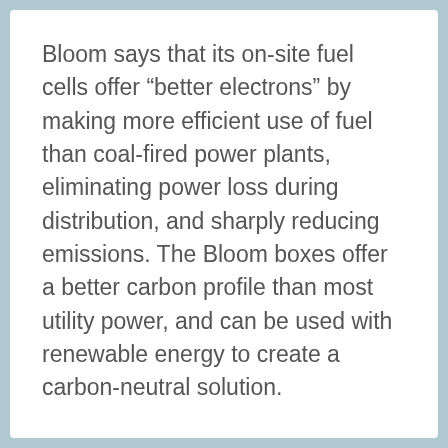Bloom says that its on-site fuel cells offer “better electrons” by making more efficient use of fuel than coal-fired power plants, eliminating power loss during distribution, and sharply reducing emissions. The Bloom boxes offer a better carbon profile than most utility power, and can be used with renewable energy to create a carbon-neutral solution.